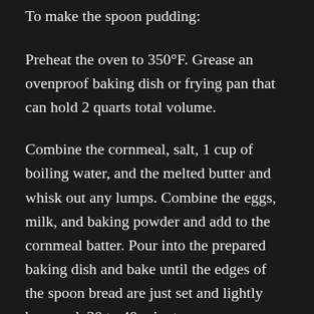To make the spoon pudding:
Preheat the oven to 350°F. Grease an ovenproof baking dish or frying pan that can hold 2 quarts total volume.
Combine the cornmeal, salt, 1 cup of boiling water, and the melted butter and whisk out any lumps. Combine the eggs, milk, and baking powder and add to the cornmeal batter. Pour into the prepared baking dish and bake until the edges of the spoon bread are just set and lightly browned, 30 to 40 minutes.